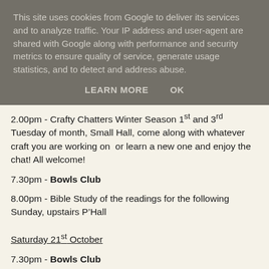This site uses cookies from Google to deliver its services and to analyze traffic. Your IP address and user-agent are shared with Google along with performance and security metrics to ensure quality of service, generate usage statistics, and to detect and address abuse.
LEARN MORE    OK
2.00pm - Crafty Chatters Winter Season 1st and 3rd Tuesday of month, Small Hall, come along with whatever craft you are working on  or learn a new one and enjoy the chat! All welcome!
7.30pm - Bowls Club
8.00pm - Bible Study of the readings for the following Sunday, upstairs P’Hall
Saturday 21st October
7.30pm - Bowls Club